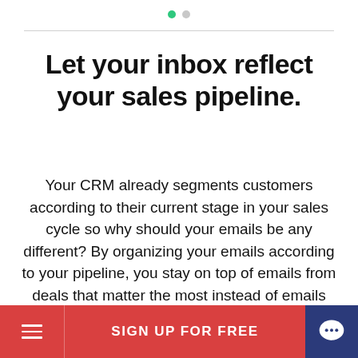• •
Let your inbox reflect your sales pipeline.
Your CRM already segments customers according to their current stage in your sales cycle so why should your emails be any different? By organizing your emails according to your pipeline, you stay on top of emails from deals that matter the most instead of emails from the latest deals. You can also filter emails using CRM criteria to find the message you're looking for quickly.
SIGN UP FOR FREE